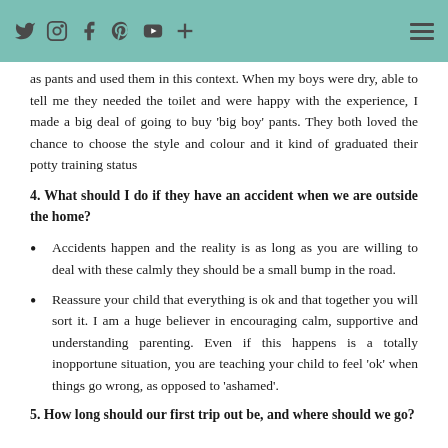trained. This made my life easier and their experience less stressed. If we were going on a big trip we still treated the HUGGIES® Pull-Ups as pants and used them in this context. When my boys were dry, able to tell me they needed the toilet and were happy with the experience, I made a big deal of going to buy 'big boy' pants. They both loved the chance to choose the style and colour and it kind of graduated their potty training status
4. What should I do if they have an accident when we are outside the home?
Accidents happen and the reality is as long as you are willing to deal with these calmly they should be a small bump in the road.
Reassure your child that everything is ok and that together you will sort it. I am a huge believer in encouraging calm, supportive and understanding parenting. Even if this happens is a totally inopportune situation, you are teaching your child to feel 'ok' when things go wrong, as opposed to 'ashamed'.
5. How long should our first trip out be, and where should we go?